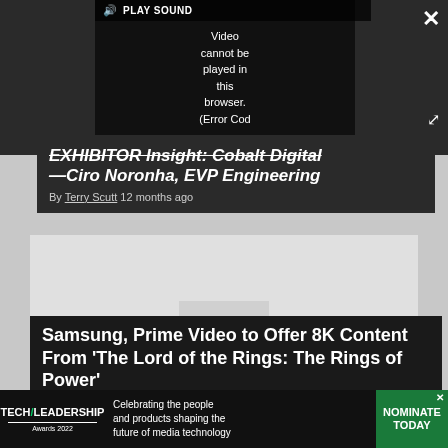[Figure (screenshot): Video player showing error: 'Video cannot be played in this browser. (Error Cod' with PLAY SOUND button overlay]
EXHIBITOR Insight: Cobalt Digital—Ciro Noronha, EVP Engineering
By Terry Scutt 12 months ago
[Figure (photo): Gray placeholder image area for second article]
Samsung, Prime Video to Offer 8K Content From 'The Lord of the Rings: The Rings of Power'
[Figure (screenshot): Tech Leadership Awards 2022 advertisement banner - 'Celebrating the people and products shaping the future of media technology' with NOMINATE TODAY button]